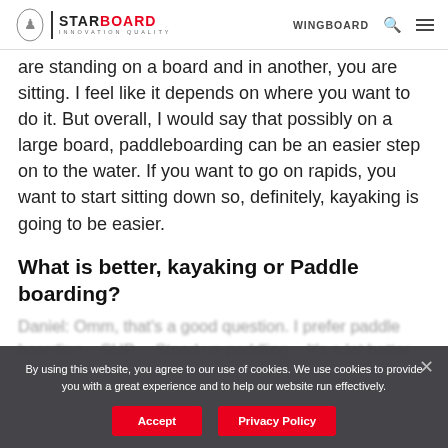STARBOARD INNOVATION QUALITY | WINGBOARD
are standing on a board and in another, you are sitting. I feel like it depends on where you want to do it. But overall, I would say that possibly on a large board, paddleboarding can be an easier step on to the water. If you want to go on rapids, you want to start sitting down so, definitely, kayaking is going to be easier.
What is better, kayaking or Paddle boarding?
Daniel: Omm, that's a good question. I prefer paddle boarding... SUP.... Stand up paddling... It's a lot better.
By using this website, you agree to our use of cookies. We use cookies to provide you with a great experience and to help our website run effectively.